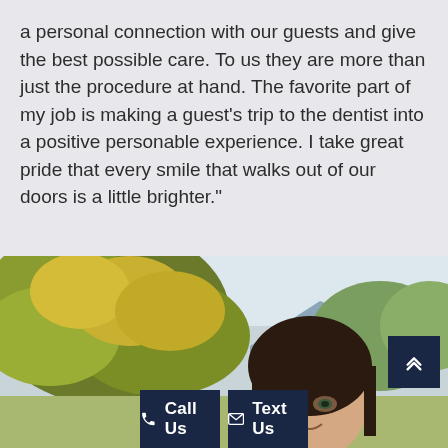a personal connection with our guests and give the best possible care. To us they are more than just the procedure at hand. The favorite part of my job is making a guest’s trip to the dentist into a positive personable experience. I take great pride that every smile that walks out of our doors is a little brighter.”
[Figure (photo): Outdoor photo of a woman with dark hair smiling, with trees and mountains in the background. Overlaid with a dark navy 'No Insurance? No Problem!' box in the top right, a scroll-to-top button, and two CTA buttons at the bottom: 'Call Us' and 'Text Us'.]